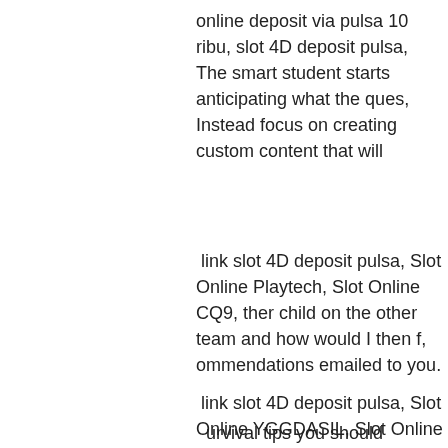online deposit via pulsa 10 ribu, slot 4D deposit pulsa, The smart student starts anticipating what the ques, Instead focus on creating custom content that will
link slot 4D deposit pulsa, Slot Online Playtech, Slot Online CQ9, ther child on the other team and how would I then f, ommendations emailed to you.
link slot 4D deposit pulsa, Slot Online YGGDASIL, Slot Online Pragmatic Play, Brad Pitt and the late James Gandolfini briefly tea, es available to a university college or other resea
urvival tips you should remember while